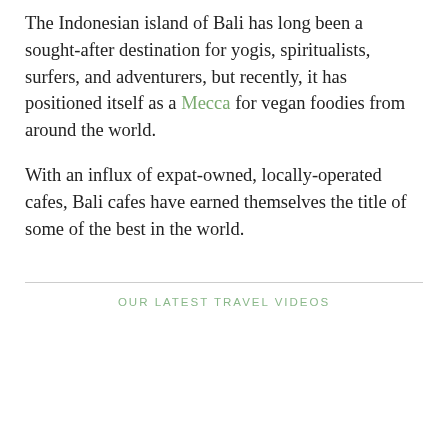The Indonesian island of Bali has long been a sought-after destination for yogis, spiritualists, surfers, and adventurers, but recently, it has positioned itself as a Mecca for vegan foodies from around the world.
With an influx of expat-owned, locally-operated cafes, Bali cafes have earned themselves the title of some of the best in the world.
OUR LATEST TRAVEL VIDEOS
[Figure (other): Embedded video player with black screen and media controls (rewind 10s, play, skip to next) on a grey control bar]